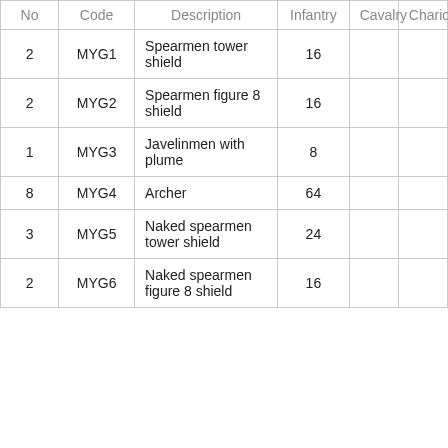| No | Code | Description | Infantry | Cavalry | Chariot |
| --- | --- | --- | --- | --- | --- |
| 2 | MYG1 | Spearmen tower shield | 16 |  |  |
| 2 | MYG2 | Spearmen figure 8 shield | 16 |  |  |
| 1 | MYG3 | Javelinmen with plume | 8 |  |  |
| 8 | MYG4 | Archer | 64 |  |  |
| 3 | MYG5 | Naked spearmen tower shield | 24 |  |  |
| 2 | MYG6 | Naked spearmen figure 8 shield | 16 |  |  |